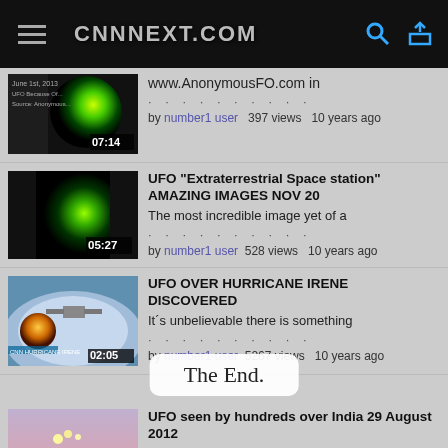CNNNEXT.COM
[Figure (screenshot): Video thumbnail showing glowing green solar/UFO image, duration 07:14]
www.AnonymousFO.com in
by number1 user   397 views   10 years ago
[Figure (screenshot): Video thumbnail showing green glowing sphere UFO image, duration 05:27]
UFO "Extraterrestrial Space station" AMAZING IMAGES NOV 20
The most incredible image yet of a
by number1 user   528 views   10 years ago
[Figure (screenshot): Video thumbnail showing hurricane satellite image with UFO, duration 02:05]
UFO OVER HURRICANE IRENE DISCOVERED
It´s unbelievable there is something
by number1 user   5267 views   10 years ago
The End.
[Figure (screenshot): Video thumbnail showing lights in sky over India, partial view]
UFO seen by hundreds over India 29 August 2012
UFO seen by hundreds over India 29